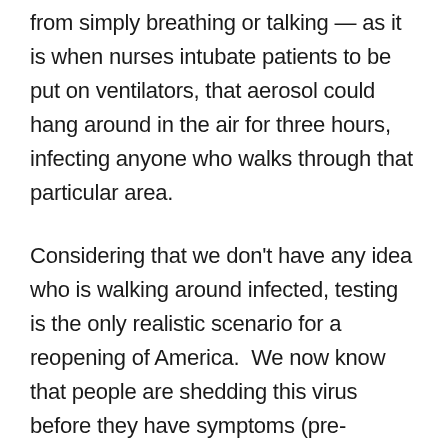from simply breathing or talking — as it is when nurses intubate patients to be put on ventilators, that aerosol could hang around in the air for three hours, infecting anyone who walks through that particular area.
Considering that we don't have any idea who is walking around infected, testing is the only realistic scenario for a reopening of America.  We now know that people are shedding this virus before they have symptoms (pre-symptomatic), they shed virus when they have no symptoms (asymptomatic) and they are shedding virus for anywhere between 2-3 days and 2 weeks after their symptoms are gone (post-symptomatic).